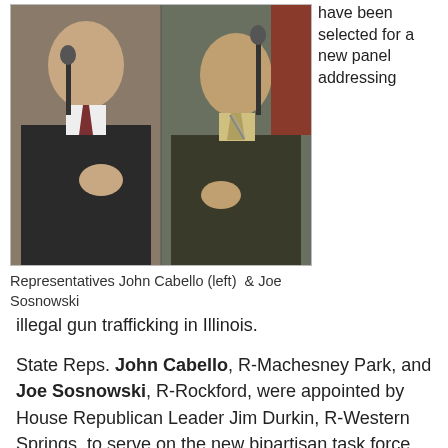[Figure (photo): Two men speaking at microphones. Left man in dark suit with reddish tie, right man in dark jacket with striped tie.]
Representatives John Cabello (left)  & Joe Sosnowski
have been selected for a new panel addressing illegal gun trafficking in Illinois.
State Reps. John Cabello, R-Machesney Park, and Joe Sosnowski, R-Rockford, were appointed by House Republican Leader Jim Durkin, R-Western Springs, to serve on the new bipartisan task force charged with developing a comprehensive plan, including legislative proposals, to disrupt the flow of illegal guns into the state.
"Most gun violence throughout Illinois and the City of